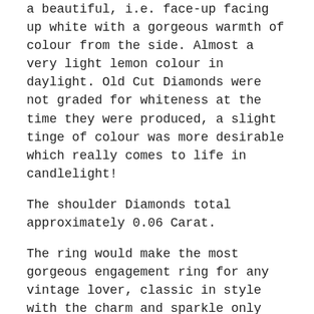a beautiful, i.e. face-up facing up white with a gorgeous warmth of colour from the side. Almost a very light lemon colour in daylight. Old Cut Diamonds were not graded for whiteness at the time they were produced, a slight tinge of colour was more desirable which really comes to life in candlelight!
The shoulder Diamonds total approximately 0.06 Carat.
The ring would make the most gorgeous engagement ring for any vintage lover, classic in style with the charm and sparkle only offered by an Old Cut Diamond.
UK Size N+
US Size 6.75
Can be sized.